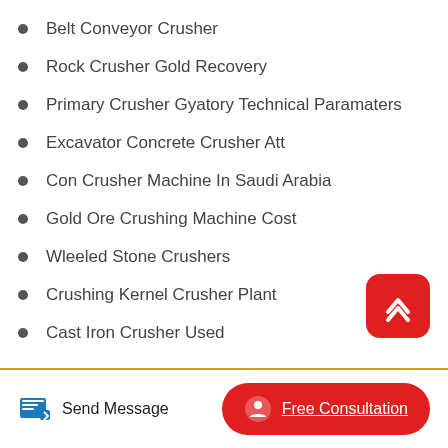Belt Conveyor Crusher
Rock Crusher Gold Recovery
Primary Crusher Gyatory Technical Paramaters
Excavator Concrete Crusher Att
Con Crusher Machine In Saudi Arabia
Gold Ore Crushing Machine Cost
Wleeled Stone Crushers
Crushing Kernel Crusher Plant
Cast Iron Crusher Used
[Figure (other): Scroll-to-top button: red rounded square with white upward chevron icon]
Send Message | Free Consultation